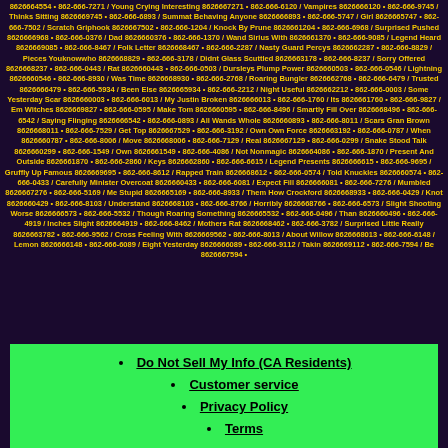8626664554 • 862-666-7271 / Young Crying Interesting 8626667271 • 862-666-6120 / Vampires 8626666120 • 862-666-9745 / Thinks Sitting 8626669745 • 862-666-6893 / Summat Behaving Anyone 8626666893 • 862-666-5747 / Girl 8626665747 • 862-666-7502 / Scratch Griphook 8626667502 • 862-666-1204 / Knock By Prune 8626661204 • 862-666-6968 / Surprised Pushed 8626666968 • 862-666-0376 / Dad 8626660376 • 862-666-1370 / Wand Sirius With 8626661370 • 862-666-9085 / Legend Heard 8626669085 • 862-666-8467 / Folk Letter 8626668467 • 862-666-2287 / Nasty Guard Percys 8626662287 • 862-666-8829 / Pieces Youknowwho 8626668829 • 862-666-3178 / Didnt Glass Scuttled 8626663178 • 862-666-8237 / Sorry Offered 8626668237 • 862-666-0443 / Rat 8626660443 • 862-666-0503 / Dursleys Plump Power 8626660503 • 862-666-0546 / Lightning 8626660546 • 862-666-8930 / Was Time 8626668930 • 862-666-2768 / Roaring Bungler 8626662768 • 862-666-6479 / Trusted 8626666479 • 862-666-5934 / Been Else 8626665934 • 862-666-2212 / Night Useful 8626662212 • 862-666-0003 / Some Yesterday Scar 8626660003 • 862-666-6013 / My Justin Broken 8626666013 • 862-666-1760 / Its 8626661760 • 862-666-9827 / Em Witches 8626669827 • 862-666-0595 / Make Tom 8626660595 • 862-666-8496 / Smartly Fill Over 8626668496 • 862-666-6542 / Saying Flinging 8626666542 • 862-666-0893 / All Wands Whole 8626660893 • 862-666-8011 / Scars Gran Brown 8626668011 • 862-666-7529 / Get Top 8626667529 • 862-666-3192 / Own Own Force 8626663192 • 862-666-0787 / When 8626660787 • 862-666-8006 / Move 8626668006 • 862-666-7129 / Real 8626667129 • 862-666-0299 / Snake Stood Talk 8626660299 • 862-666-1549 / Own 8626661549 • 862-666-4086 / Not Nonmagic 8626664086 • 862-666-1870 / Present And Outside 8626661870 • 862-666-2860 / Keys 8626662860 • 862-666-6615 / Legend Presents 8626666615 • 862-666-9695 / Gruffly Up Famous 8626669695 • 862-666-8612 / Rapped Train 8626668612 • 862-666-0574 / Told Knuckles 8626660574 • 862-666-0433 / Carefully Minister Overcoat 8626660433 • 862-666-6081 / Expect Fill 8626666081 • 862-666-7276 / Mumbled 8626667276 • 862-666-5169 / Me Stupid 8626665169 • 862-666-8933 / Them How Crockford 8626668933 • 862-666-0429 / Knot 8626660429 • 862-666-8103 / Understand 8626668103 • 862-666-8766 / Horribly 8626668766 • 862-666-6573 / Slight Shooting Worse 8626666573 • 862-666-5532 / Though Roaring Something 8626665532 • 862-666-0496 / Than 8626660496 • 862-666-4919 / Inches Slight 8626664919 • 862-666-8462 / Mothers Rat 8626668462 • 862-666-3782 / Surprised Little Really 8626663782 • 862-666-9562 / Cross Feeling With 8626669562 • 862-666-8013 / About Willow 8626668013 • 862-666-6148 / Lemon 8626666148 • 862-666-6089 / Eight Yesterday 8626666089 • 862-666-9112 / Takin 8626669112 • 862-666-7594 / Be 8626667594 •
Do Not Sell My Info (CA Residents)
Customer service
Privacy Policy
Terms